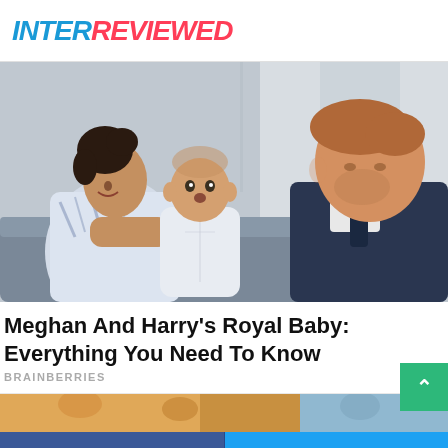INTERREVIEWED
[Figure (photo): Photo of Meghan Markle holding baby Archie while Prince Harry looks on, seated on a gray sofa]
Meghan And Harry's Royal Baby: Everything You Need To Know
BRAINBERRIES
[Figure (photo): Partial teaser strip showing another image thumbnail at the bottom]
Facebook share button | Twitter share button